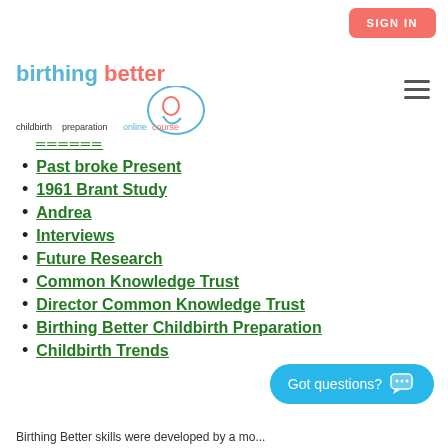SIGN IN
[Figure (logo): Birthing Better childbirth preparation online course logo with circular mother-and-child icon in blue and pink]
Past broke Present
1961 Brant Study
Andrea
Interviews
Future Research
Common Knowledge Trust
Director Common Knowledge Trust
Birthing Better Childbirth Preparation
Childbirth Trends
Birthing Better skills were developed by a mo...